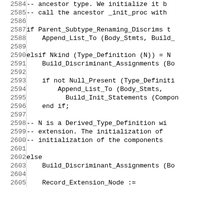[Figure (other): Source code listing with line numbers 2584-2605, showing Ada programming language code with if/elsif/else constructs and function calls]